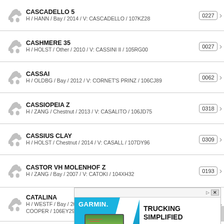CASCADELLO 5 | H / HANN / Bay / 2014 / V: CASCADELLO / 107KZ28 | 0227
CASHMERE 35 | H / HOLST / Other / 2010 / V: CASSINI II / 105RG00 | 0027
CASSAI | H / OLDBG / Bay / 2012 / V: CORNET'S PRINZ / 106CJ89 | 0062
CASSIOPEIA Z | H / ZANG / Chestnut / 2013 / V: CASALITO / 106JD75 | 0318
CASSIUS CLAY | H / HOLST / Chestnut / 2014 / V: CASALL / 107DY96 | 0309
CASTOR VH MOLENHOF Z | H / ZANG / Bay / 2007 / V: CATOKI / 104XH32 | 0193
CATALINA | H / WESTF / Bay / 2013 / V: CUP COOPER / 106EY29 | 0366
CA... | H / ... | ...1
CA... | H / ... | ...8
[Figure (screenshot): Garmin advertisement banner: TRUCKING SIMPLIFIED - New dezl OTR trucking navigators, with device screenshot showing navigation map]